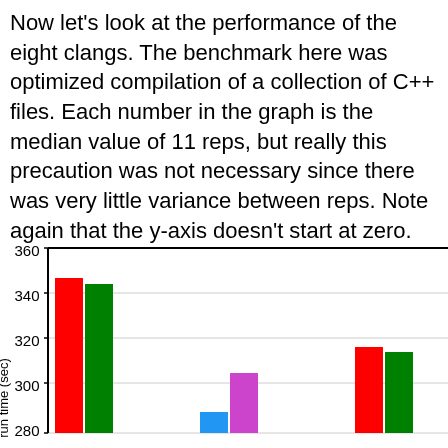Now let's look at the performance of the eight clangs. The benchmark here was optimized compilation of a collection of C++ files. Each number in the graph is the median value of 11 reps, but really this precaution was not necessary since there was very little variance between reps. Note again that the y-axis doesn't start at zero.
[Figure (bar-chart): ]